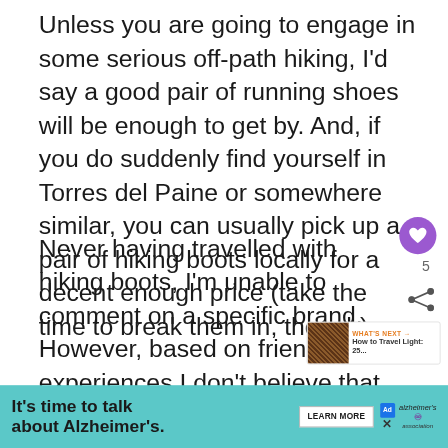Unless you are going to engage in some serious off-path hiking, I'd say a good pair of running shoes will be enough to get by. And, if you do suddenly find yourself in Torres del Paine or somewhere similar, you can usually pick up a pair of hiking boots locally for a decent enough price (take the time to break them in, though).
Never having travelled with hiking boots, I'm unable to comment on a specific brand. However, based on friends' experiences I don't believe that a higher price or a good name are necessarily indicative of quality. In fact, one guy I walked a large part of the Inca Trail with cursed his few hundred
[Figure (other): UI overlay with heart/like button showing count 5, share button, and What's Next thumbnail link to 'How to Travel Light: 25...']
[Figure (other): Alzheimer's Association advertisement banner: 'It's time to talk about Alzheimer's.' with Learn More button and association logo.]